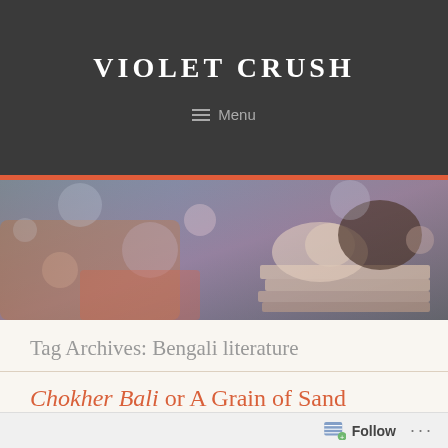VIOLET CRUSH
≡ Menu
[Figure (photo): A young woman sleeping on a stack of books, with a dreamy, artistic overlay of bokeh lights and soft hues.]
Tag Archives: Bengali literature
Chokher Bali or A Grain of Sand